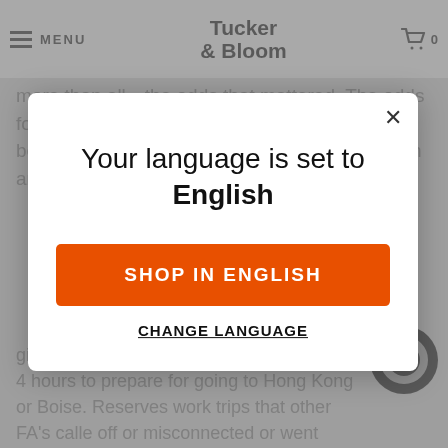Tucker & Bloom | MENU | Cart 0
more than all—the odds that mattered. The odds for me, at that moment, were that I was going to be able to leave town with a job and have health and flying benefits.
Your language is set to English
SHOP IN ENGLISH
CHANGE LANGUAGE
give you 4 hours notice. So, I have at least 4 hours to prepare for going to Hong Kong or Boise. Reserves work trips that other FA's called off or misconnected or went illegal (there's a bunch of legalities because we are union and